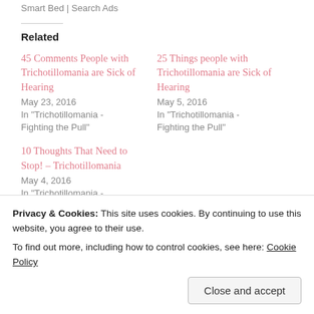Smart Bed | Search Ads
Related
45 Comments People with Trichotillomania are Sick of Hearing
May 23, 2016
In "Trichotillomania - Fighting the Pull"
25 Things people with Trichotillomania are Sick of Hearing
May 5, 2016
In "Trichotillomania - Fighting the Pull"
10 Thoughts That Need to Stop! – Trichotillomania
May 4, 2016
In "Trichotillomania -
Privacy & Cookies: This site uses cookies. By continuing to use this website, you agree to their use.
To find out more, including how to control cookies, see here: Cookie Policy
Close and accept